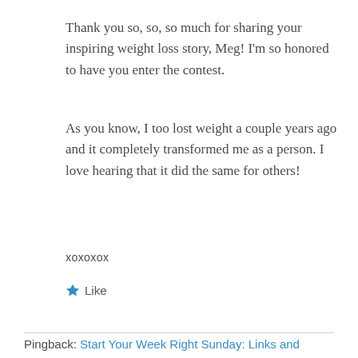Thank you so, so, so much for sharing your inspiring weight loss story, Meg! I'm so honored to have you enter the contest.
As you know, I too lost weight a couple years ago and it completely transformed me as a person. I love hearing that it did the same for others!
xoxoxox
Like
Pingback: Start Your Week Right Sunday: Links and Goals – Jessica Lawlor